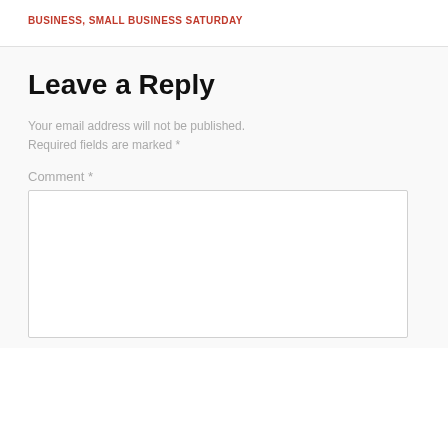BUSINESS, SMALL BUSINESS SATURDAY
Leave a Reply
Your email address will not be published. Required fields are marked *
Comment *